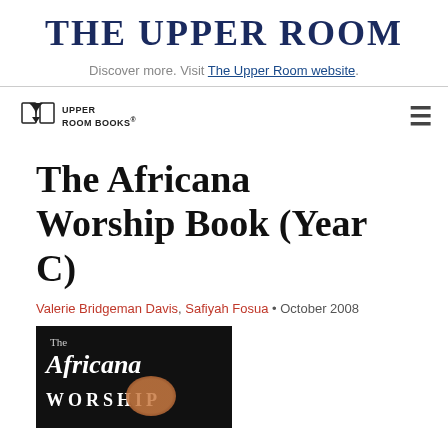THE UPPER ROOM
Discover more. Visit The Upper Room website.
[Figure (logo): Upper Room Books logo with open book icon and text 'UPPER ROOM BOOKS']
The Africana Worship Book (Year C)
Valerie Bridgeman Davis, Safiyah Fosua • October 2008
[Figure (photo): Book cover showing 'The Africana Worship' text on dark background with decorative elements]